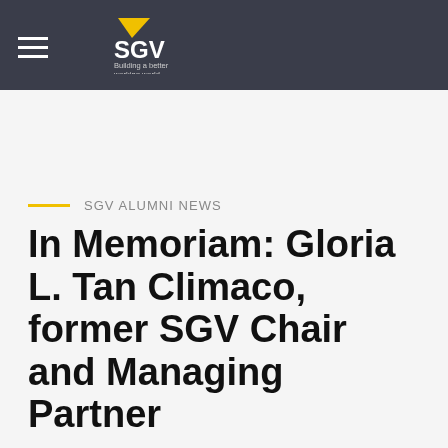SGV — Building a better working world
SGV ALUMNI NEWS
In Memoriam: Gloria L. Tan Climaco, former SGV Chair and Managing Partner